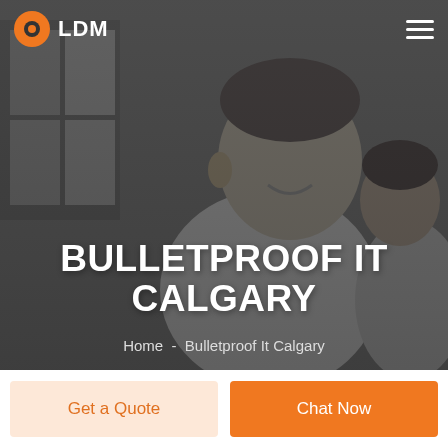[Figure (photo): Hero background: grayscale/dark-overlay photo of a smiling man and woman in an indoor setting]
LDM
BULLETPROOF IT CALGARY
Home  -  Bulletproof It Calgary
Get a Quote
Chat Now